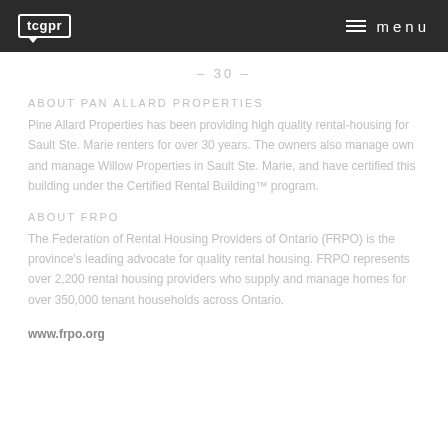tcgpr   menu
– 30 –
ABOUT PAN ALLARD PROPERTIES
Pine Allard Properties has been providing high quality rental-housing for Sault Ste. Marie renters for over 30 years. The owners also manage own and manage Willow Properties in Sault Ste. Marie, and have certified this building under the Certified Rental Building™ program.
ABOUT FRPO
The Federation of Rental Housing Providers of Ontario (FRPO) is the province's leading advocate for quality rental housing. FRPO represents over 2,200 rental housing providers who supply and manage homes for over 350,000 tenant households across Ontario.
www.frpo.org